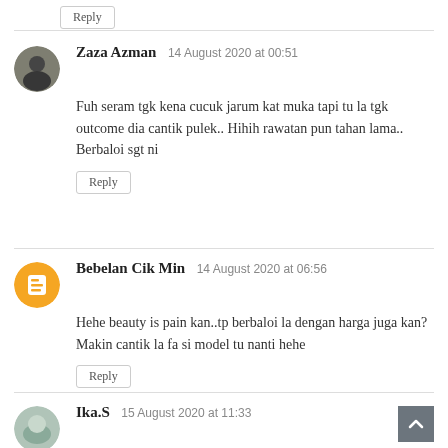Reply
Zaza Azman  14 August 2020 at 00:51
Fuh seram tgk kena cucuk jarum kat muka tapi tu la tgk outcome dia cantik pulek.. Hihih rawatan pun tahan lama.. Berbaloi sgt ni
Reply
Bebelan Cik Min  14 August 2020 at 06:56
Hehe beauty is pain kan..tp berbaloi la dengan harga juga kan? Makin cantik la fa si model tu nanti hehe
Reply
Ika.S  15 August 2020 at 11:33
erghh mmg beauty is pain kan. but then mesti rasa